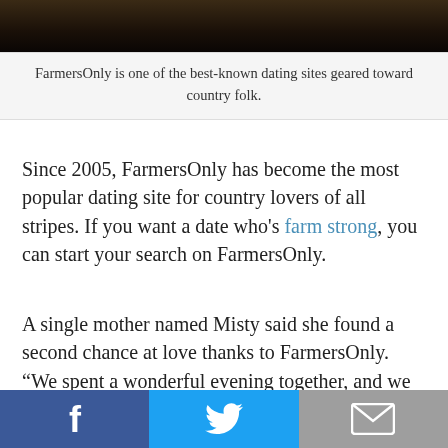[Figure (photo): Dark photo strip at top of page, appears to be an outdoor/farm scene]
FarmersOnly is one of the best-known dating sites geared toward country folk.
Since 2005, FarmersOnly has become the most popular dating site for country lovers of all stripes. If you want a date who's farm strong, you can start your search on FarmersOnly.
A single mother named Misty said she found a second chance at love thanks to FarmersOnly. “We spent a wonderful evening together, and we haven’t had a desire to look elsewhere since,” Misty said in her success story. “We both love the outdoors, country music, hunting — we complete one another.”